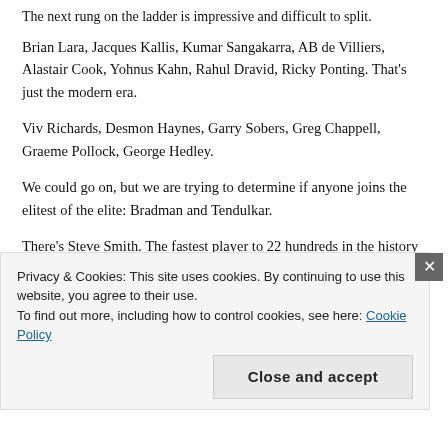The next rung on the ladder is impressive and difficult to split.
Brian Lara, Jacques Kallis, Kumar Sangakarra, AB de Villiers, Alastair Cook, Yohnus Kahn, Rahul Dravid, Ricky Ponting. That's just the modern era.
Viv Richards, Desmon Haynes, Garry Sobers, Greg Chappell, Graeme Pollock, George Hedley.
We could go on, but we are trying to determine if anyone joins the elitest of the elite: Bradman and Tendulkar.
There's Steve Smith. The fastest player to 22 hundreds in the history of Test cricket. Faster than Bradman or Tendulkar. He
Privacy & Cookies: This site uses cookies. By continuing to use this website, you agree to their use.
To find out more, including how to control cookies, see here: Cookie Policy
Close and accept